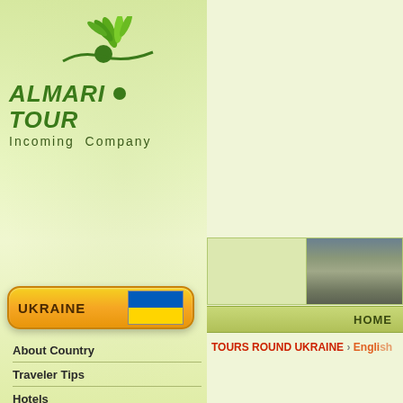[Figure (logo): Almari Tour Incoming Company logo with green leaf/plant graphic and dark green circle]
[Figure (illustration): Ukraine button with gold/orange rounded rectangle background and Ukrainian flag (blue and yellow)]
About Country
Traveler Tips
Hotels
Excursions
Visa support
Weekends
Eco-tourism in Ukraine
[Figure (photo): Two-panel image strip: left panel is light colored placeholder, right panel shows aerial city view]
HOME
TOURS ROUND UKRAINE › English